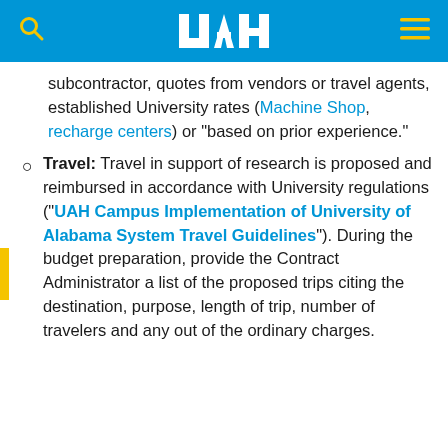UAH navigation bar with logo, search, and menu icons
subcontractor, quotes from vendors or travel agents, established University rates (Machine Shop, recharge centers) or "based on prior experience."
Travel: Travel in support of research is proposed and reimbursed in accordance with University regulations ("UAH Campus Implementation of University of Alabama System Travel Guidelines"). During the budget preparation, provide the Contract Administrator a list of the proposed trips citing the destination, purpose, length of trip, number of travelers and any out of the ordinary charges.